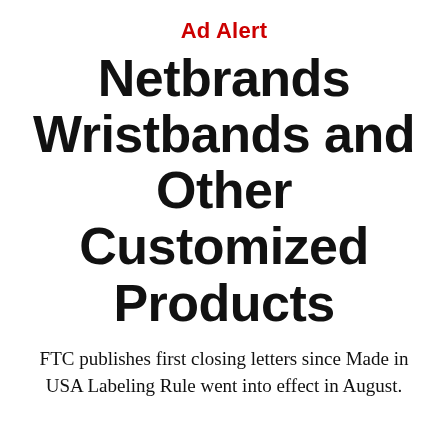Ad Alert
Netbrands Wristbands and Other Customized Products
FTC publishes first closing letters since Made in USA Labeling Rule went into effect in August.